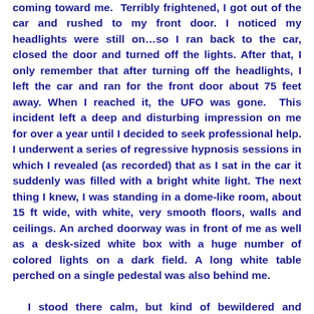coming toward me. Terribly frightened, I got out of the car and rushed to my front door. I noticed my headlights were still on…so I ran back to the car, closed the door and turned off the lights. After that, I only remember that after turning off the headlights, I left the car and ran for the front door about 75 feet away. When I reached it, the UFO was gone. This incident left a deep and disturbing impression on me for over a year until I decided to seek professional help. I underwent a series of regressive hypnosis sessions in which I revealed (as recorded) that as I sat in the car it suddenly was filled with a bright white light. The next thing I knew, I was standing in a dome-like room, about 15 ft wide, with white, very smooth floors, walls and ceilings. An arched doorway was in front of me as well as a desk-sized white box with a huge number of colored lights on a dark field. A long white table perched on a single pedestal was also behind me.

I stood there calm, but kind of bewildered and absently reached to unbutton the collar of my dress.